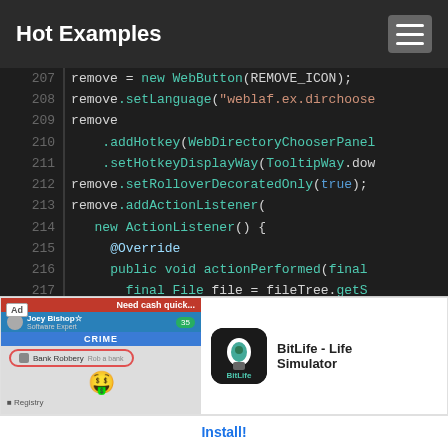Hot Examples
[Figure (screenshot): Code editor screenshot showing Java code lines 207-220 with syntax highlighting on dark background]
[Figure (infographic): Ad banner for BitLife - Life Simulator app with game screenshot and Install button]